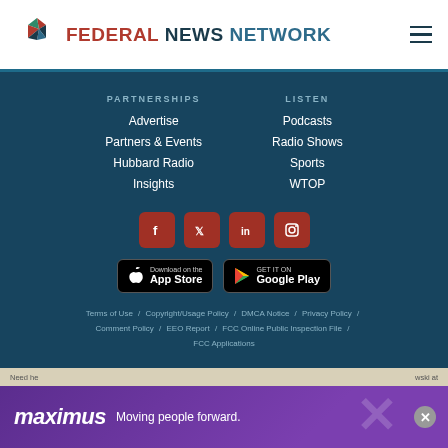FEDERAL NEWS NETWORK
PARTNERSHIPS
Advertise
Partners & Events
Hubbard Radio
Insights
LISTEN
Podcasts
Radio Shows
Sports
WTOP
[Figure (logo): Social media icons: Facebook, Twitter, LinkedIn, Instagram]
[Figure (logo): Download on the App Store and Get it on Google Play badges]
Terms of Use / Copyright/Usage Policy / DMCA Notice / Privacy Policy / Comment Policy / EEO Report / FCC Online Public Inspection File / FCC Applications
[Figure (illustration): Maximus advertisement banner: maximus Moving people forward.]